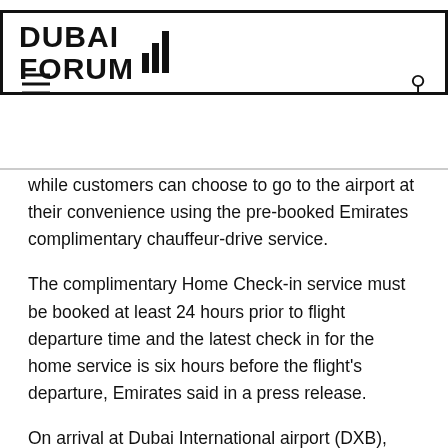DUBAI FORUM
while customers can choose to go to the airport at their convenience using the pre-booked Emirates complimentary chauffeur-drive service.
The complimentary Home Check-in service must be booked at least 24 hours prior to flight departure time and the latest check in for the home service is six hours before the flight's departure, Emirates said in a press release.
On arrival at Dubai International airport (DXB), which must be minimum of 90 minutes prior to the flight, customers can proceed directly to immigration and security, and then continue to Emirates' dedicated First Class Lounge.
All Emirates customers can experience a smooth and contactless